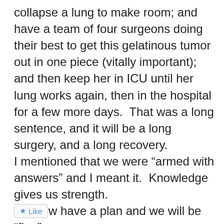collapse a lung to make room; and have a team of four surgeons doing their best to get this gelatinous tumor out in one piece (vitally important); and then keep her in ICU until her lung works again, then in the hospital for a few more days.  That was a long sentence, and it will be a long surgery, and a long recovery.  I mentioned that we were “armed with answers” and I meant it.  Knowledge gives us strength.  We now have a plan and we will be “fine”.  I have hit the bottom of the pit.  It is time to start climbing.